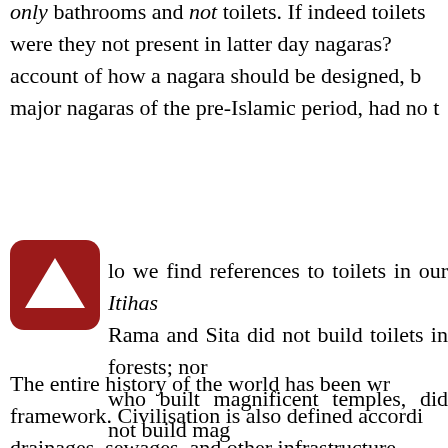only bathrooms and not toilets. If indeed toilets were they not present in latter day nagaras? account of how a nagara should be designed, b major nagaras of the pre-Islamic period, had no t
[Figure (other): Red rounded square icon with white upward-pointing triangle/arrow in the center]
lo we find references to toilets in our Itihas Rama and Sita did not build toilets in forests; nor who built magnificent temples, did not build mag
The entire history of the world has been wr framework. Civilisation is also defined accordi drainages, sewages, and other infrastructure contrast, in our dharmic system, personal hy benchmarks of civilisation. The term kalacharan follows, and not the buildings or palaces. But u power from the British, sees everything from the are hostile to our traditional life style.